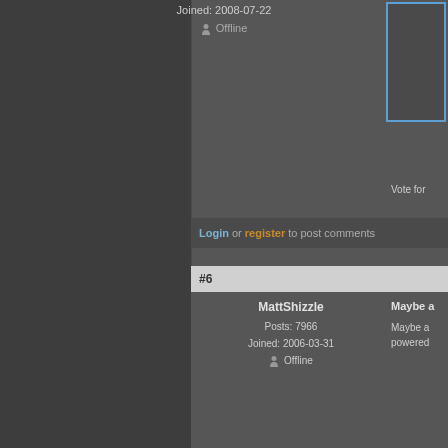Joined: 2008-07-22
Offline
[Figure (photo): Partially visible avatar image with blue border, top-right]
well, the
to the fa
Vote for
Login or register to post comments
#6
MattShizzle
Posts: 7966
Joined: 2006-03-31
Offline
Maybe a
Maybe a
powered